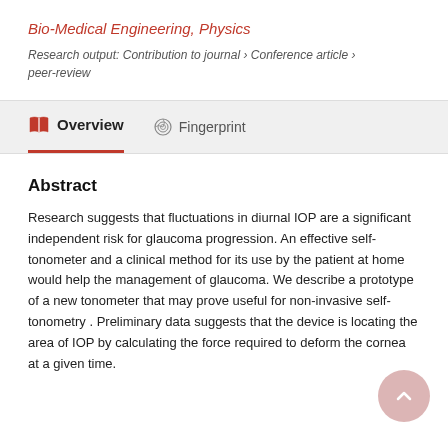Bio-Medical Engineering, Physics
Research output: Contribution to journal › Conference article › peer-review
Overview   Fingerprint
Abstract
Research suggests that fluctuations in diurnal IOP are a significant independent risk for glaucoma progression. An effective self-tonometer and a clinical method for its use by the patient at home would help the management of glaucoma. We describe a prototype of a new tonometer that may prove useful for non-invasive self-tonometry . Preliminary data suggests that the device is locating the area of IOP by calculating the force required to deform the cornea at a given time.